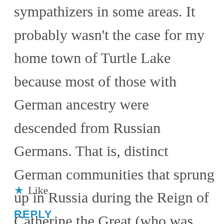sympathizers in some areas. It probably wasn't the case for my home town of Turtle Lake because most of those with German ancestry were descended from Russian Germans. That is, distinct German communities that sprung up in Russia during the Reign of Catherine the Great (who was German) and whose descendants migrated to North Dakota in the late 19th, early 20th centuries.
★ Like
REPLY